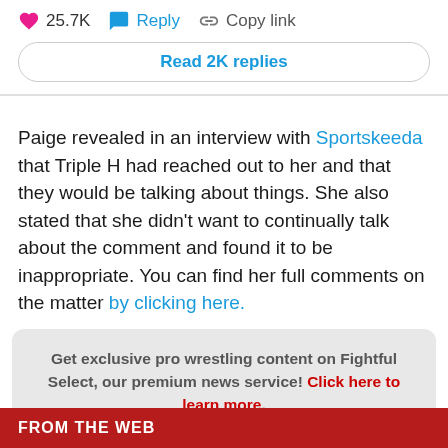❤ 25.7K  💬 Reply  🔗 Copy link
Read 2K replies
Paige revealed in an interview with Sportskeeda that Triple H had reached out to her and that they would be talking about things. She also stated that she didn't want to continually talk about the comment and found it to be inappropriate. You can find her full comments on the matter by clicking here.
Get exclusive pro wrestling content on Fightful Select, our premium news service! Click here to learn more.
[Figure (logo): Fightful Select logo watermark in gray]
FROM THE WEB